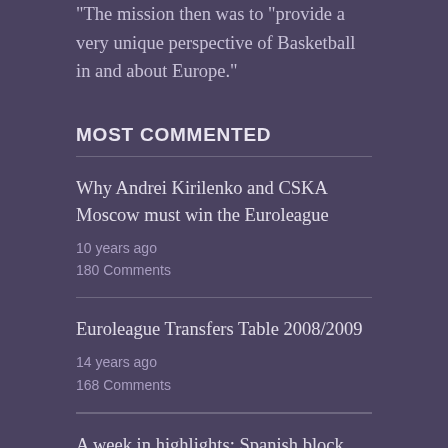“The mission then was to “provide a very unique perspective of Basketball in and about Europe.”
MOST COMMENTED
Why Andrei Kirilenko and CSKA Moscow must win the Euroleague
10 years ago
180 Comments
Euroleague Transfers Table 2008/2009
14 years ago
168 Comments
A week in highlights: Spanish block party, mighty Milan, Utah rep and some dude...